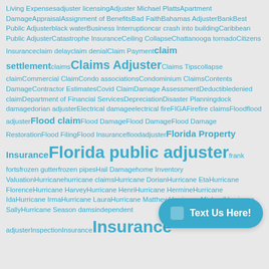Living Expenses adjuster licensing Adjuster Michael Platts Apartment Damage Appraisal Assignment of Benefits Bad Faith Bahamas Adjuster Bank Best Public Adjuster black water Business Interruption car crash into building Caribbean Public Adjuster Catastrophe Insurance Ceiling Collapse Chattanooga tornado Citizens Insurance claim delay claim denial Claim Payment claim settlement claims Claims Adjuster Claims Tips collapse claim Commercial Claim Condo associations Condominium Claims Contents Damage Contractor Estimates Covid Claim Damage Assessment Deductible denied claim Department of Financial Services Depreciation Disaster Planning dock damage dorian adjuster Electrical damage electrical fire FIGA Fire fire claims Flood flood adjuster Flood claim Flood Damage Flood Damage Flood Damage Restoration Flood Filing Flood Insurance floodadjuster Florida Property Insurance Florida public adjuster frank forts frozen gutter frozen pipes Hail Damage home Inventory Valuation Hurricane hurricane claims Hurricane Dorian Hurricane Eta Hurricane Florence Hurricane Harvey Hurricane Henri Hurricane Hermine Hurricane Ida Hurricane Irma Hurricane Laura Hurricane Matthew Hurricane Michael Hurricane Sally Hurricane Season dams independent adjuster Inspection Insurance Insurance